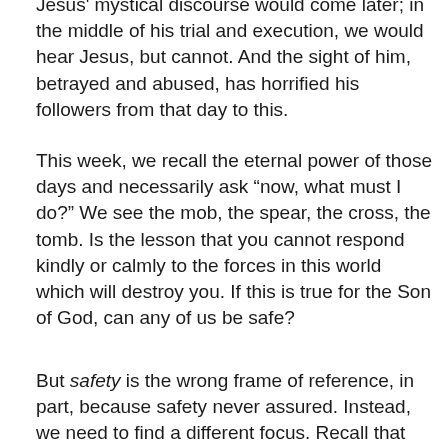Jesus' mystical discourse would come later; in the middle of his trial and execution, we would hear Jesus, but cannot. And the sight of him, betrayed and abused, has horrified his followers from that day to this.
This week, we recall the eternal power of those days and necessarily ask “now, what must I do?” We see the mob, the spear, the cross, the tomb. Is the lesson that you cannot respond kindly or calmly to the forces in this world which will destroy you. If this is true for the Son of God, can any of us be safe?
But safety is the wrong frame of reference, in part, because safety never assured. Instead, we need to find a different focus. Recall that the powers of this world are limited and pass away, but God abides and is everlasting. I hope in God, and that makes the joys of this world more intense, and robs the horrors of the world of its semblance of dominating finality. The Passion changed the divine relationship with the world and all who live in it. At Jesus’